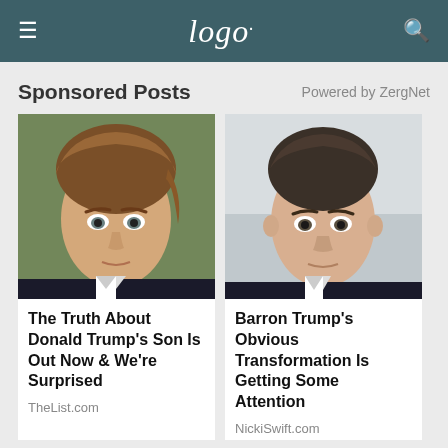logo.
Sponsored Posts
Powered by ZergNet
[Figure (photo): Portrait photo of a young brown-haired boy in a dark suit and white shirt, looking directly at camera with a serious expression, green background]
The Truth About Donald Trump's Son Is Out Now & We're Surprised
TheList.com
[Figure (photo): Portrait photo of a young dark-haired boy in a dark suit and white shirt, looking upward slightly, light blurred background]
Barron Trump's Obvious Transformation Is Getting Some Attention
NickiSwift.com